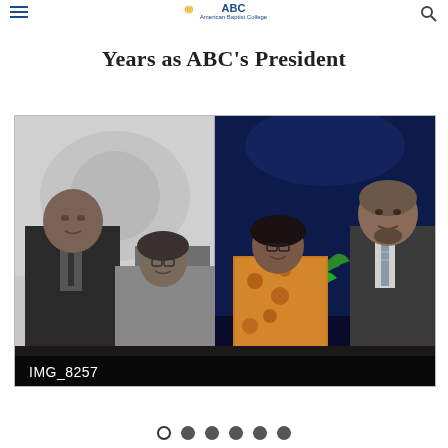American Baptist College
Years as ABC's President
[Figure (photo): Four people posing for a group photo at a formal event. Two men in suits on the left and right, and two women in the center. The left half of the image is in black and white, and the right half is in color. A banner in the background reads 'PARTNERSHIP GLOBAL'. Image filename label reads IMG_8257.]
IMG_8257